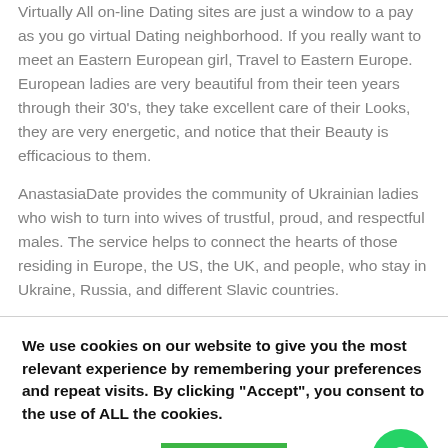Virtually All on-line Dating sites are just a window to a pay as you go virtual Dating neighborhood. If you really want to meet an Eastern European girl, Travel to Eastern Europe. European ladies are very beautiful from their teen years through their 30's, they take excellent care of their Looks, they are very energetic, and notice that their Beauty is efficacious to them.
AnastasiaDate provides the community of Ukrainian ladies who wish to turn into wives of trustful, proud, and respectful males. The service helps to connect the hearts of those residing in Europe, the US, the UK, and people, who stay in Ukraine, Russia, and different Slavic countries.
We use cookies on our website to give you the most relevant experience by remembering your preferences and repeat visits. By clicking "Accept", you consent to the use of ALL the cookies.
Cookie settings
ACCEPT